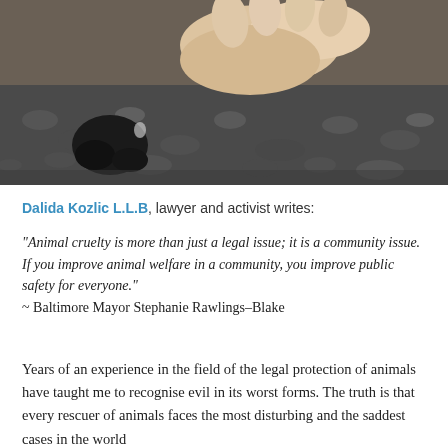[Figure (photo): A person's hands holding a small dark-furred animal (likely a cat or small mammal) on a gravel surface]
Dalida Kozlic L.L.B, lawyer and activist writes:
“Animal cruelty is more than just a legal issue; it is a community issue. If you improve animal welfare in a community, you improve public safety for everyone.”
~ Baltimore Mayor Stephanie Rawlings–Blake
Years of an experience in the field of the legal protection of animals have taught me to recognise evil in its worst forms. The truth is that every rescuer of animals faces the most disturbing and the saddest cases in the world